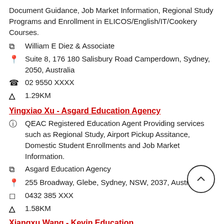Document Guidance, Job Market Information, Regional Study Programs and Enrollment in ELICOS/English/IT/Cookery Courses.
William E Diez & Associate
Suite 8, 176 180 Salisbury Road Camperdown, Sydney, 2050, Australia
02 9550 XXXX
1.29KM
Yingxiao Xu - Asgard Education Agency
QEAC Registered Education Agent Providing services such as Regional Study, Airport Pickup Assitance, Domestic Student Enrollments and Job Market Information.
Asgard Education Agency
255 Broadway, Glebe, Sydney, NSW, 2037, Australia
0432 385 XXX
1.58KM
Xiangxu Wang - Kevin Education
College/University Selection, Offshore Student